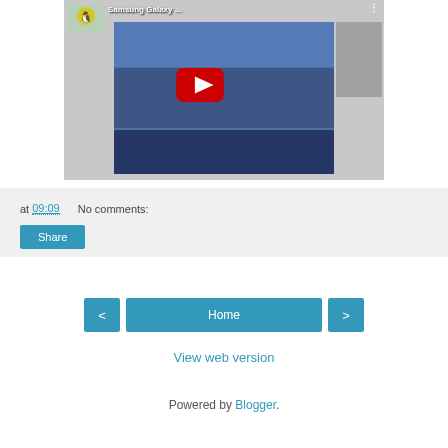[Figure (screenshot): YouTube video thumbnail showing Samsung Galaxy device with play button overlay, titled 'Samsung Galaxy ...']
at 09:09   No comments:
Share
< Home >
View web version
Powered by Blogger.